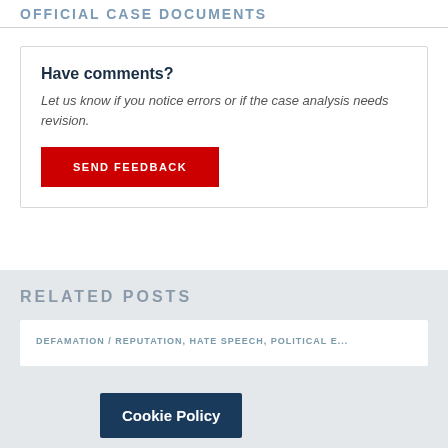OFFICIAL CASE DOCUMENTS
Have comments?
Let us know if you notice errors or if the case analysis needs revision.
SEND FEEDBACK
RELATED POSTS
DEFAMATION / REPUTATION, HATE SPEECH, POLITICAL E...
Cookie Policy